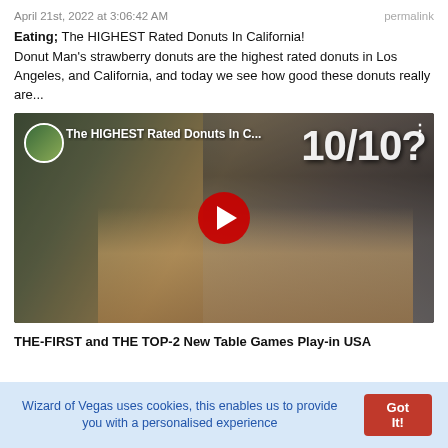April 21st, 2022 at 3:06:42 AM    permalink
Eating; The HIGHEST Rated Donuts In California!
Donut Man's strawberry donuts are the highest rated donuts in Los Angeles, and California, and today we see how good these donuts really are...
[Figure (screenshot): YouTube video thumbnail showing a man smiling and pointing at a box of donuts, with '10/10?' text overlay. Title: 'The HIGHEST Rated Donuts In C...' with YouTube play button.]
THE-FIRST and THE TOP-2 New Table Games Play-in USA
Wizard of Vegas uses cookies, this enables us to provide you with a personalised experience   Got It!